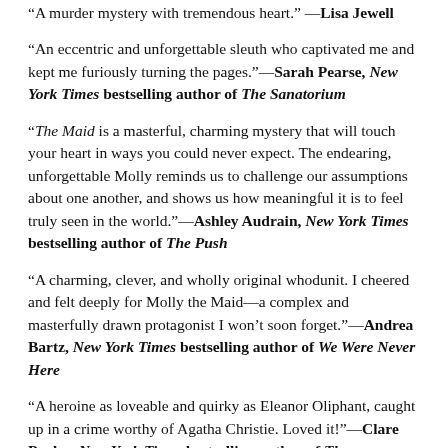“A murder mystery with tremendous heart.” —Lisa Jewell
“An eccentric and unforgettable sleuth who captivated me and kept me furiously turning the pages.”—Sarah Pearse, New York Times bestselling author of The Sanatorium
“The Maid is a masterful, charming mystery that will touch your heart in ways you could never expect. The endearing, unforgettable Molly reminds us to challenge our assumptions about one another, and shows us how meaningful it is to feel truly seen in the world.”—Ashley Audrain, New York Times bestselling author of The Push
“A charming, clever, and wholly original whodunit. I cheered and felt deeply for Molly the Maid—a complex and masterfully drawn protagonist I won’t soon forget.”—Andrea Bartz, New York Times bestselling author of We Were Never Here
“A heroine as loveable and quirky as Eleanor Oliphant, caught up in a crime worthy of Agatha Christie. Loved it!”—Clare Pooley, New York Times bestselling author of The Authenticity